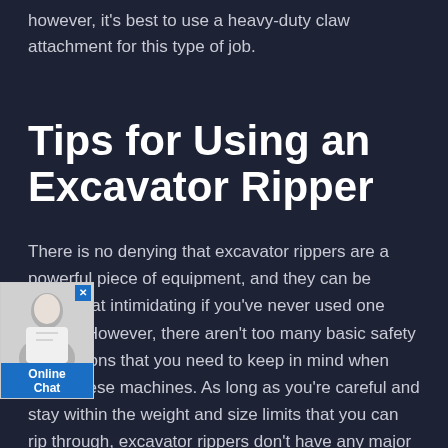however, it's best to use a heavy-duty claw attachment for this type of job.
Tips for Using an Excavator Ripper
There is no denying that excavator rippers are a powerful piece of equipment, and they can be somewhat intimidating if you've never used one before. However, there aren't too many basic safety precautions that you need to keep in mind when using these machines. As long as you're careful and stay within the weight and size limits that you can rip through, excavator rippers don't have any major safety risks involved.
[Figure (photo): Online chat widget with photo of smiling woman, close button, and 'Online Chat' label]